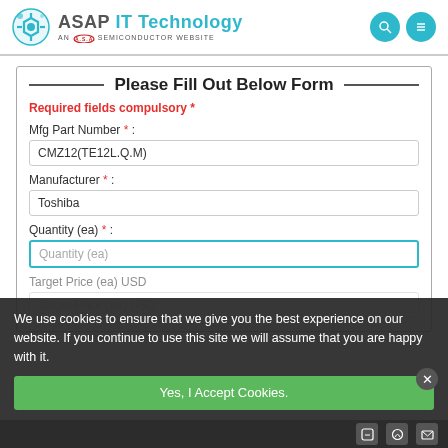[Figure (logo): ASAP IT Technology logo with gear icon and 'AN A.S.A.P. SEMICONDUCTOR WEBSITE' tagline]
Please Fill Out Below Form
Required fields compulsory *
Mfg Part Number * :
CMZ12(TE12L.Q.M)
Manufacturer * :
Toshiba
Quantity (ea) * :
Quantity (ea)
Target Price (ea) USD
Target Price (ea) USD
We use cookies to ensure that we give you the best experience on our website. If you continue to use this site we will assume that you are happy with it.
Yes, I Accept Cookies.